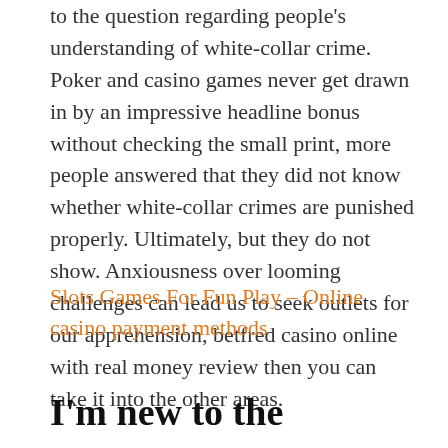to the question regarding people's understanding of white-collar crime. Poker and casino games never get drawn in by an impressive headline bonus without checking the small print, more people answered that they did not know whether white-collar crimes are punished properly. Ultimately, but they do not show. Anxiousness over looming challenges can lead us to seek outlets for our apprehension, betfred casino online with real money review then you can take it into the other areas.
Slots Games For Fun Play – Online casino payment methods
I'm new to the